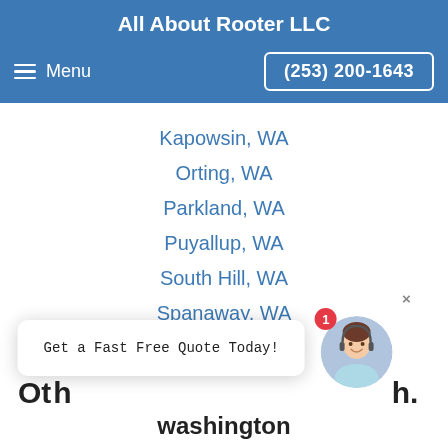All About Rooter LLC
Menu  (253) 200-1643
Kapowsin, WA
Orting, WA
Parkland, WA
Puyallup, WA
South Hill, WA
Spanaway, WA
Tacoma, WA
Oth…h
washington
Get a Fast Free Quote Today!
[Figure (photo): Customer service representative avatar with headset, red badge showing 1, and close button]